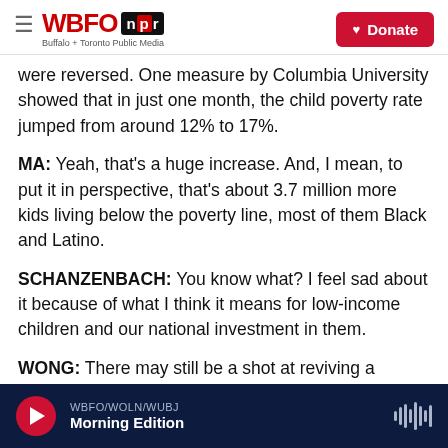WBFO npr — Buffalo + Toronto Public Media | Donate
were reversed. One measure by Columbia University showed that in just one month, the child poverty rate jumped from around 12% to 17%.
MA: Yeah, that's a huge increase. And, I mean, to put it in perspective, that's about 3.7 million more kids living below the poverty line, most of them Black and Latino.
SCHANZENBACH: You know what? I feel sad about it because of what I think it means for low-income children and our national investment in them.
WONG: There may still be a shot at reviving a
WBFO/WOLN/WUBJ — Morning Edition